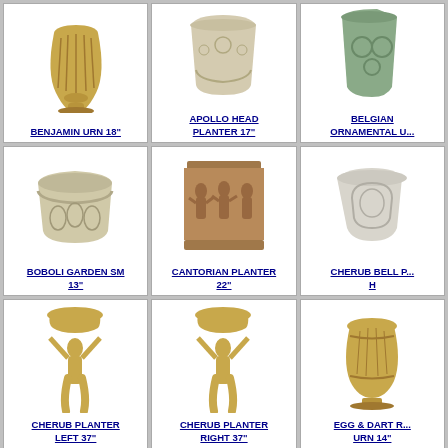[Figure (photo): Benjamin Urn 18 inch - classical stone urn pedestal]
BENJAMIN URN 18"
[Figure (photo): Apollo Head Planter 17 inch - decorative stone planter]
APOLLO HEAD PLANTER 17"
[Figure (photo): Belgian Ornamental Urn - stone urn with decorative reliefs]
BELGIAN ORNAMENTAL U...
[Figure (photo): Boboli Garden Sm 13 inch - stone garden planter]
BOBOLI GARDEN SM 13"
[Figure (photo): Cantorian Planter 22 inch - square stone planter with figurative relief]
CANTORIAN PLANTER 22"
[Figure (photo): Cherub Bell Planter H - stone bell shaped planter with cherub motifs]
CHERUB BELL P... H
[Figure (photo): Cherub Planter Left 37 inch - tall stone planter with cherub figure]
CHERUB PLANTER LEFT 37"
[Figure (photo): Cherub Planter Right 37 inch - tall stone planter with cherub figure]
CHERUB PLANTER RIGHT 37"
[Figure (photo): Egg and Dart Roman Urn 14 inch - classical decorative urn]
EGG & DART R... URN 14"
[Figure (photo): Bottom row left item - rectangular stone trough/planter]
[Figure (photo): Bottom row center item - stone planter]
[Figure (photo): Bottom row right item - stone planter]